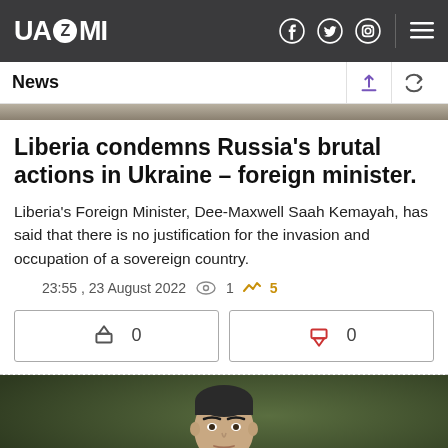UAZMI
News
Liberia condemns Russia's brutal actions in Ukraine – foreign minister.
Liberia's Foreign Minister, Dee-Maxwell Saah Kemayah, has said that there is no justification for the invasion and occupation of a sovereign country.
23:55 , 23 August 2022  1  5
[Figure (other): Thumbs up like button with count 0]
[Figure (other): Thumbs down dislike button with count 0]
[Figure (photo): Photo of a man with dark hair in a suit, outdoors with blurred green background]